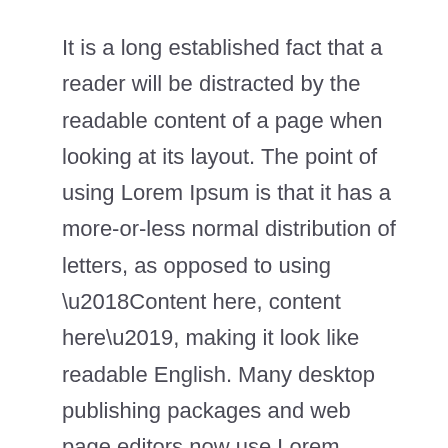It is a long established fact that a reader will be distracted by the readable content of a page when looking at its layout. The point of using Lorem Ipsum is that it has a more-or-less normal distribution of letters, as opposed to using ‘Content here, content here’, making it look like readable English. Many desktop publishing packages and web page editors now use Lorem Ipsum as their default model text, and a search for ‘lorem ipsum’ will uncover many web sites still in their infancy. Various versions have evolved over the years, sometimes by accident, sometimes on